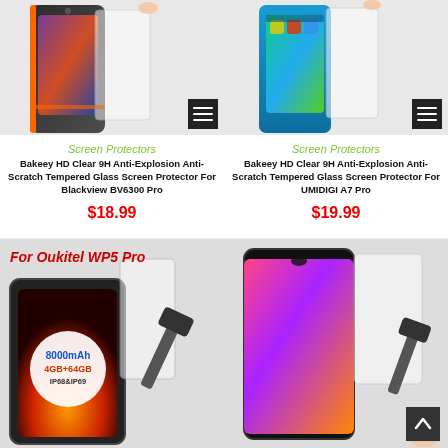[Figure (photo): Product photo of Blackview BV6300 Pro phone with tempered glass screen protector and a list icon overlay]
[Figure (photo): Product photo of UMIDIGI A7 Pro phone with tempered glass screen protector and a list icon overlay]
Screen Protectors
Bakeey HD Clear 9H Anti-Explosion Anti-Scratch Tempered Glass Screen Protector For Blackview BV6300 Pro
$18.99
Screen Protectors
Bakeey HD Clear 9H Anti-Explosion Anti-Scratch Tempered Glass Screen Protector For UMIDIGI A7 Pro
$19.99
[Figure (photo): Product photo for Oukitel WP5 Pro phone with tempered glass, hammer demonstration, labeled 8000mAh 4GB+64GB IP68&IP69]
[Figure (photo): Product photo of another smartphone with tempered glass screen protector and hammer, with back-to-top button overlay]